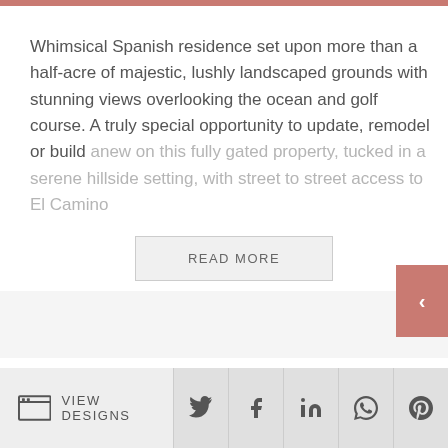Whimsical Spanish residence set upon more than a half-acre of majestic, lushly landscaped grounds with stunning views overlooking the ocean and golf course. A truly special opportunity to update, remodel or build anew on this fully gated property, tucked in a serene hillside setting, with street to street access to El Camino
READ MORE
Interior
VIEW DESIGNS